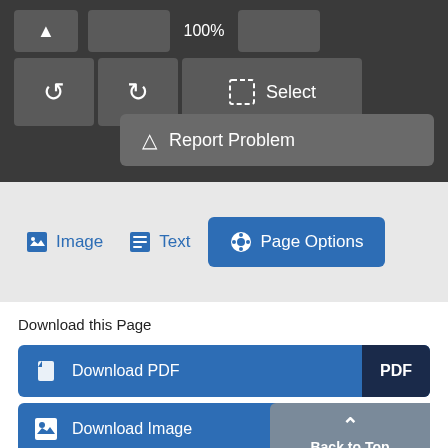[Figure (screenshot): Dark toolbar with navigation buttons: up arrow button, blank button, 100% zoom text, dropdown button, two rotate buttons, a Select button, and a Report Problem button]
[Figure (screenshot): Light gray tab bar with Image tab, Text tab, and active Page Options tab (blue)]
Download this Page
[Figure (screenshot): Download PDF button (blue with PDF badge), Download Image button (blue with JPG badge partially covered by Back to Top overlay)]